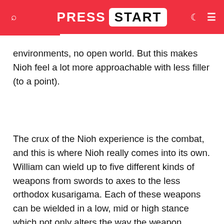PRESS START
environments, no open world. But this makes Nioh feel a lot more approachable with less filler (to a point).
The crux of the Nioh experience is the combat, and this is where Nioh really comes into its own. William can wield up to five different kinds of weapons from swords to axes to the less orthodox kusarigama. Each of these weapons can be wielded in a low, mid or high stance which not only alters the way the weapon behaves in combat but also how William can move and carry